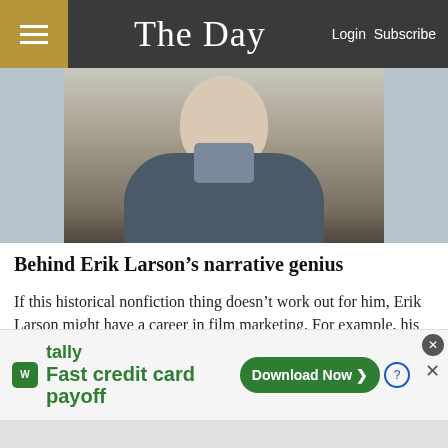The Day  Login Subscribe
[Figure (photo): Portrait photo of a middle-aged man with gray hair and a white beard, wearing a dark jacket, looking slightly to one side]
Behind Erik Larson's narrative genius
If this historical nonfiction thing doesn't work out for him, Erik Larson might have a career in film marketing. For example, his latest book, “The Splendid and the Vile,” is an account of the Blitz ...
[Figure (photo): Partial view of a second article image, appears to show a building or architectural element against blue sky]
[Figure (screenshot): Advertisement banner for Tally app: 'Fast credit card payoff' with a 'Download Now' button]